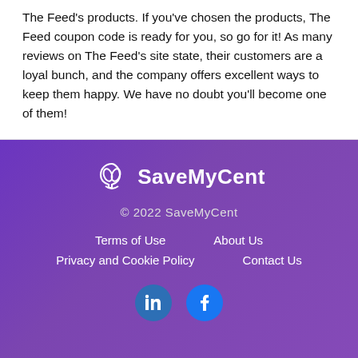The Feed's products. If you've chosen the products, The Feed coupon code is ready for you, so go for it! As many reviews on The Feed's site state, their customers are a loyal bunch, and the company offers excellent ways to keep them happy. We have no doubt you'll become one of them!
[Figure (logo): SaveMyCent logo with circular hand/leaf icon and white text 'SaveMyCent']
© 2022 SaveMyCent
Terms of Use
About Us
Privacy and Cookie Policy
Contact Us